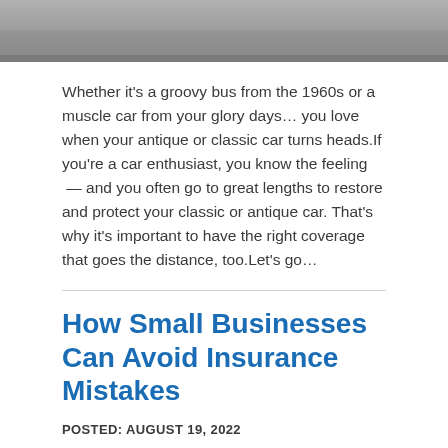[Figure (photo): Partial photo of a road or pavement surface, cropped at the top of the page]
Whether it's a groovy bus from the 1960s or a muscle car from your glory days… you love when your antique or classic car turns heads.If you're a car enthusiast, you know the feeling — and you often go to great lengths to restore and protect your classic or antique car. That's why it's important to have the right coverage that goes the distance, too.Let's go…
How Small Businesses Can Avoid Insurance Mistakes
POSTED: AUGUST 19, 2022